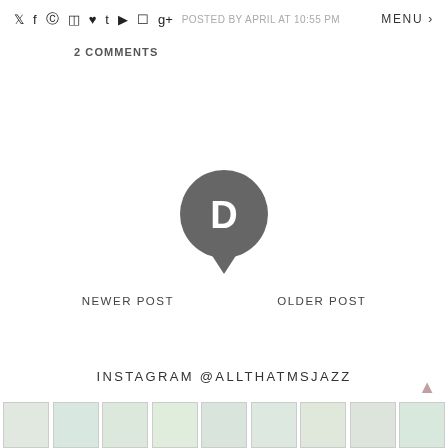♥ f ® ✉ ♥ t ▶ □ g+ POSTED BY APRIL AT 10:55 PM MENU
2 COMMENTS
[Figure (logo): Disqus comment icon — dark grey speech bubble with letter D]
NEWER POST    OLDER POST
INSTAGRAM @ALLTHATMSJAZZ
[Figure (photo): Row of 9 small Instagram thumbnail images at bottom of page]